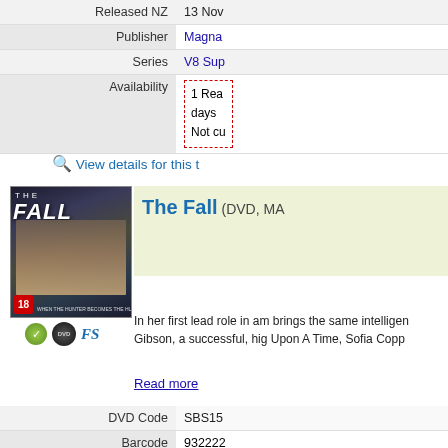| Field | Value |
| --- | --- |
| Released NZ | 13 Nov |
| Publisher | Magna |
| Series | V8 Sup |
| Availability | 1 Rea
days
Not cu |
View details for this t
[Figure (photo): DVD cover of The Fall showing a blonde woman in black jacket with title text and 18 rating badge]
The Fall (DVD, MA…)
In her first lead role in am brings the same intelligen Gibson, a successful, hig Upon A Time, Sofia Copp
Read more
| Field | Value |
| --- | --- |
| DVD Code | SBS15 |
| Barcode | 932222 |
| Released NZ | 5 Dec |